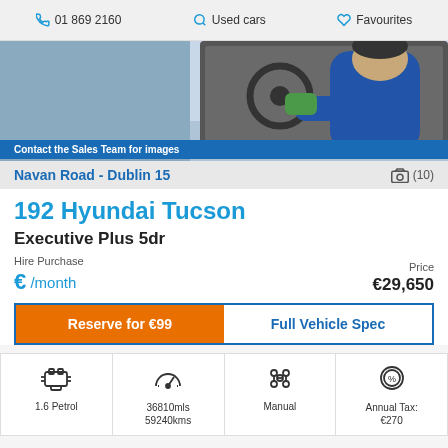01 869 2160  Used cars  Favourites
[Figure (photo): Person in blue shirt cleaning car interior dashboard with green cloth. Blue banner reading 'Contact the Sales Team for images'. Location bar reading 'Navan Road - Dublin 15' with camera icon and (10).]
192 Hyundai Tucson
Executive Plus 5dr
Hire Purchase  €/month   Price  €29,650
Reserve for €99   Full Vehicle Spec
1.6 Petrol   36810mls 59240kms   Manual   Annual Tax: €270